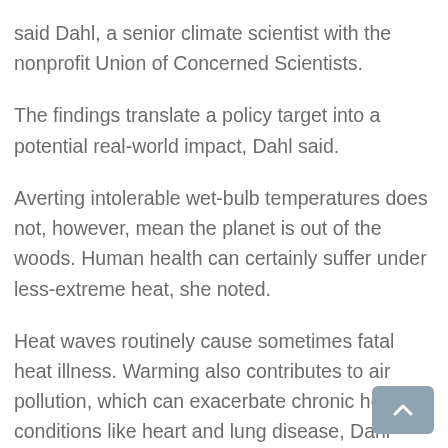said Dahl, a senior climate scientist with the nonprofit Union of Concerned Scientists.
The findings translate a policy target into a potential real-world impact, Dahl said.
Averting intolerable wet-bulb temperatures does not, however, mean the planet is out of the woods. Human health can certainly suffer under less-extreme heat, she noted.
Heat waves routinely cause sometimes fatal heat illness. Warming also contributes to air pollution, which can exacerbate chronic health conditions like heart and lung disease, Dahl added.